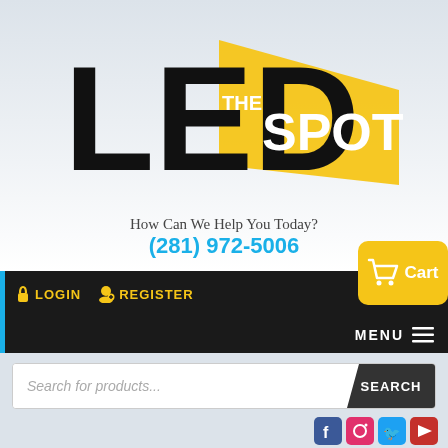[Figure (logo): The LED Spot logo — large bold black text 'LED' with a yellow spotlight beam and 'THE SPOT' in white on the beam]
How Can We Help You Today?
(281) 972-5006
[Figure (screenshot): Navigation bar with LOGIN, REGISTER links in gold on black, Cart button in yellow, and MENU hamburger]
[Figure (screenshot): Search bar with placeholder 'Search for products...' and SEARCH button]
This website uses cookies to improve your experience. We'll assume you're ok with this, but you can opt-out if you wish.